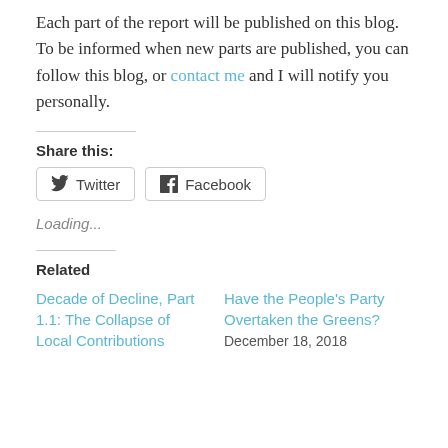Each part of the report will be published on this blog. To be informed when new parts are published, you can follow this blog, or contact me and I will notify you personally.
Share this:
Twitter  Facebook
Loading...
Related
Decade of Decline, Part 1.1: The Collapse of Local Contributions
Have the People's Party Overtaken the Greens?
December 18, 2018